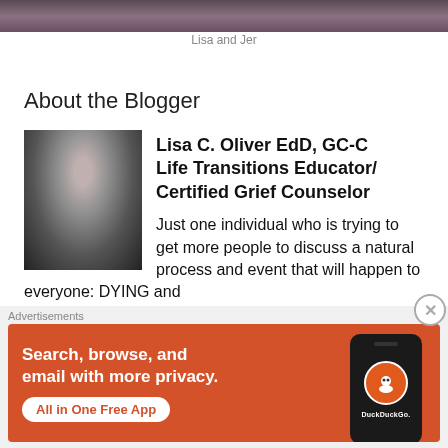[Figure (photo): Top portion of a photo showing Lisa and Jer, cropped at the top of the page]
Lisa and Jer
About the Blogger
[Figure (photo): Headshot of Lisa C. Oliver EdD, GC-C — a woman with short gray curly hair, glasses, smiling, dark background]
Lisa C. Oliver EdD, GC-C Life Transitions Educator/ Certified Grief Counselor

Just one individual who is trying to get more people to discuss a natural process and event that will happen to everyone: DYING and
[Figure (screenshot): DuckDuckGo advertisement banner: orange background with text 'Search, browse, and email with more privacy. All in One Free App' and a phone graphic with DuckDuckGo logo]